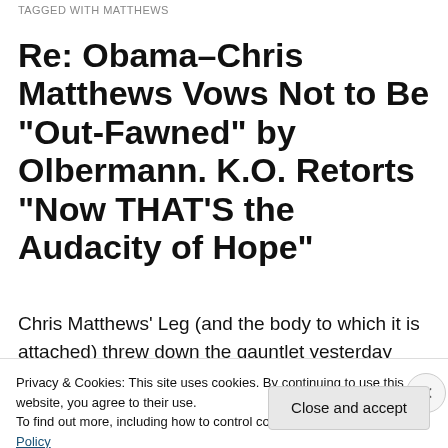TAGGED WITH MATTHEWS
Re: Obama–Chris Matthews Vows Not to Be “Out-Fawned” by Olbermann. K.O. Retorts “Now THAT’S the Audacity of Hope”
Chris Matthews’ Leg (and the body to which it is attached) threw down the gauntlet yesterday amid galling
Privacy & Cookies: This site uses cookies. By continuing to use this website, you agree to their use.
To find out more, including how to control cookies, see here: Cookie Policy
Close and accept